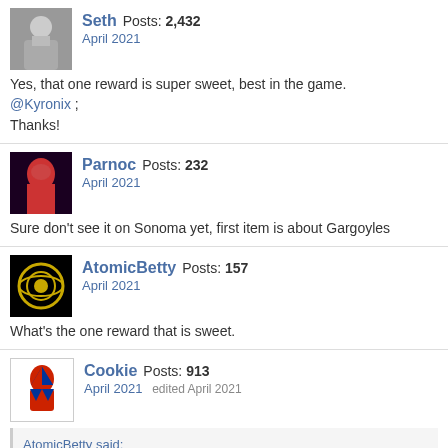Seth  Posts: 2,432
April 2021
Yes, that one reward is super sweet, best in the game.
@Kyronix ;
Thanks!
Parnoc  Posts: 232
April 2021
Sure don't see it on Sonoma yet, first item is about Gargoyles
AtomicBetty  Posts: 157
April 2021
What's the one reward that is sweet.
Cookie  Posts: 913
April 2021  edited April 2021
AtomicBetty said:
What's the one reward that is sweet.